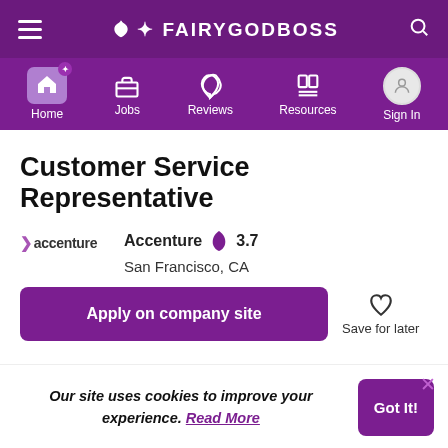FAIRYGODBOSS
[Figure (screenshot): Navigation bar with Home, Jobs, Reviews, Resources, Sign In icons]
Customer Service Representative
Accenture 3.7 San Francisco, CA
Apply on company site
Save for later
Our site uses cookies to improve your experience. Read More
Got It!